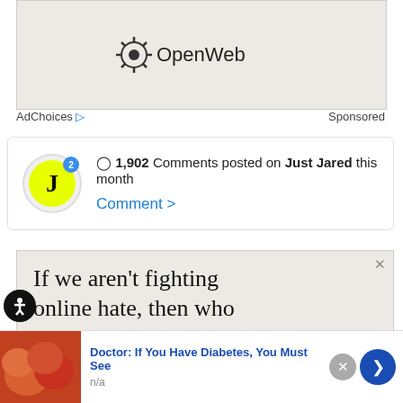[Figure (logo): OpenWeb logo advertisement banner with gear/sunburst icon and 'OpenWeb' text on beige background]
AdChoices ▷   Sponsored
[Figure (infographic): Comment widget showing yellow 'J' logo with blue badge '2', speech bubble icon, '1,902 Comments posted on Just Jared this month' and 'Comment >' link in blue]
[Figure (infographic): OpenWeb advertisement: 'If we aren't fighting online hate, then who are the real trolls?' headline with 'It's time to save' subtext on beige background]
[Figure (infographic): Sticky bottom ad: 'Doctor: If You Have Diabetes, You Must See' with thumbnail image of gummy candies, 'n/a' source label, close button and blue next arrow button]